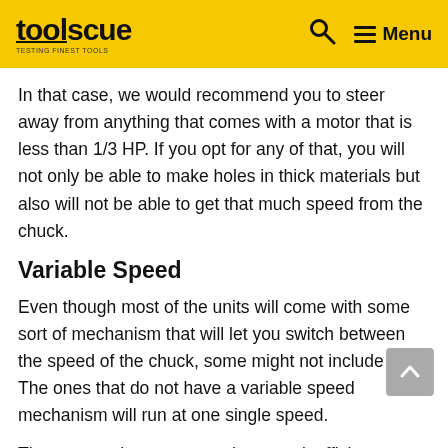toolscue — Menu (navigation header)
In that case, we would recommend you to steer away from anything that comes with a motor that is less than 1/3 HP. If you opt for any of that, you will not only be able to make holes in thick materials but also will not be able to get that much speed from the chuck.
Variable Speed
Even though most of the units will come with some sort of mechanism that will let you switch between the speed of the chuck, some might not include any. The ones that do not have a variable speed mechanism will run at one single speed.
That means they are not only power inefficient,